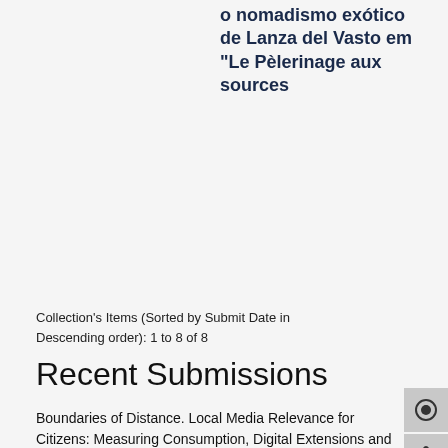o nomadismo exótico de Lanza del Vasto em "Le Pèlerinage aux sources
Collection's Items (Sorted by Submit Date in Descending order): 1 to 8 of 8
Recent Submissions
Boundaries of Distance. Local Media Relevance for Citizens: Measuring Consumption, Digital Extensions and Information Levels
Editorial: Discussing Local and Community Media: Positive Experiences and Impacts on Societies
Teilhard de Chardin's idea of progress and theory of cosmological evolution
Avatars de Raphaël Hythlodée, ou l'influence de l'Utopie de Thomas More dans le roman portugais contemporain